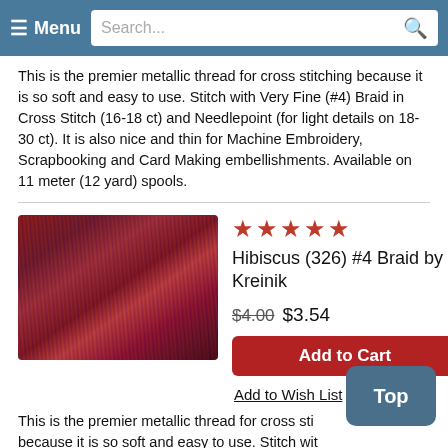≡ Menu  Search...
This is the premier metallic thread for cross stitching because it is so soft and easy to use. Stitch with Very Fine (#4) Braid in Cross Stitch (16-18 ct) and Needlepoint (for light details on 18-30 ct). It is also nice and thin for Machine Embroidery, Scrapbooking and Card Making embellishments. Available on 11 meter (12 yard) spools.
[Figure (photo): Close-up photo of Hibiscus (326) #4 Braid metallic thread by Kreinik, showing red and purple shimmering metallic fibers.]
★★★★★
Hibiscus (326) #4 Braid by Kreinik
$4.00 $3.54
Add to Cart
Add to Wish List
This is the premier metallic thread for cross sti... because it is so soft and easy to use. Stitch with... Fine (#4) Braid in Cross Stitch (16-18 ct) and